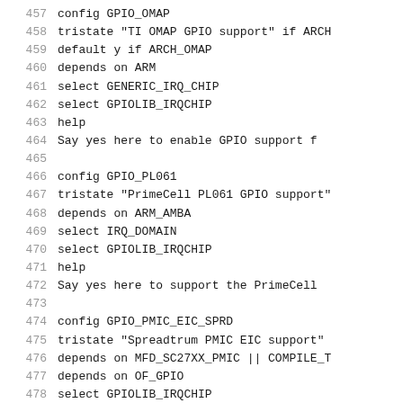457  config GPIO_OMAP
458       tristate "TI OMAP GPIO support" if ARCH
459       default y if ARCH_OMAP
460       depends on ARM
461       select GENERIC_IRQ_CHIP
462       select GPIOLIB_IRQCHIP
463       help
464          Say yes here to enable GPIO support f
465
466  config GPIO_PL061
467       tristate "PrimeCell PL061 GPIO support"
468       depends on ARM_AMBA
469       select IRQ_DOMAIN
470       select GPIOLIB_IRQCHIP
471       help
472          Say yes here to support the PrimeCell
473
474  config GPIO_PMIC_EIC_SPRD
475       tristate "Spreadtrum PMIC EIC support"
476       depends on MFD_SC27XX_PMIC || COMPILE_T
477       depends on OF_GPIO
478       select GPIOLIB_IRQCHIP